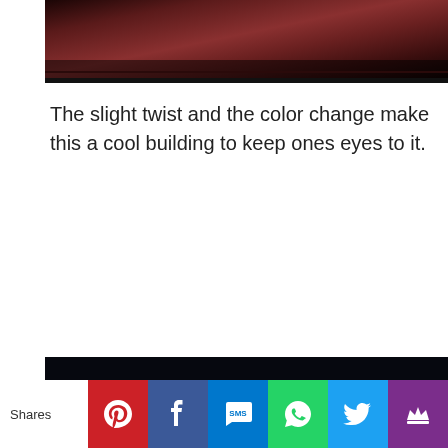[Figure (photo): Nighttime photo of an illuminated building with reddish/purple color tones, partially cropped at top]
The slight twist and the color change make this a cool building to keep ones eyes to it.
[Figure (photo): Nighttime photo of a glowing dome/spiral building lit with cyan/blue horizontal light bands against a dark sky]
Shares | Pinterest | Facebook | SMS | WhatsApp | Twitter | MightyText